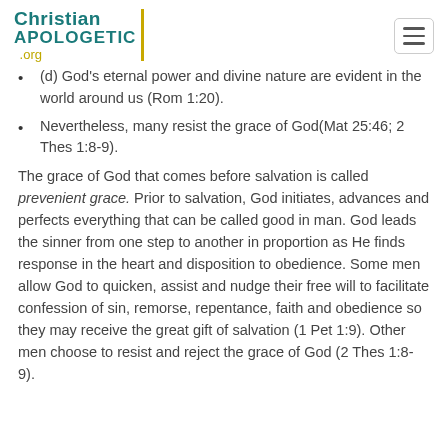Christian APOLOGETIC .org
(d) God's eternal power and divine nature are evident in the world around us (Rom 1:20).
Nevertheless, many resist the grace of God(Mat 25:46; 2 Thes 1:8-9).
The grace of God that comes before salvation is called prevenient grace. Prior to salvation, God initiates, advances and perfects everything that can be called good in man. God leads the sinner from one step to another in proportion as He finds response in the heart and disposition to obedience. Some men allow God to quicken, assist and nudge their free will to facilitate confession of sin, remorse, repentance, faith and obedience so they may receive the great gift of salvation (1 Pet 1:9). Other men choose to resist and reject the grace of God (2 Thes 1:8-9).